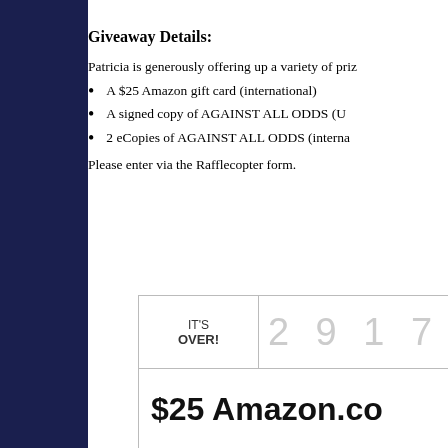Giveaway Details:
Patricia is generously offering up a variety of priz
A $25 Amazon gift card (international)
A signed copy of AGAINST ALL ODDS (U
2 eCopies of AGAINST ALL ODDS (interna
Please enter via the Rafflecopter form.
[Figure (screenshot): Rafflecopter giveaway widget showing IT'S OVER! with digits 2 9 1 7 and $25 Amazon.co text]